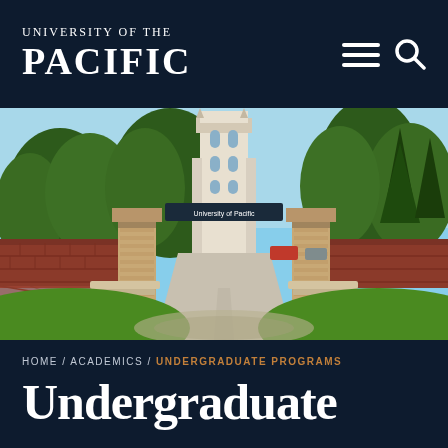UNIVERSITY OF THE PACIFIC
[Figure (photo): University of the Pacific campus entrance gate with brick pillars, a banner reading 'University of Pacific', white gothic tower in background, surrounded by green trees and lawn.]
HOME / ACADEMICS / UNDERGRADUATE PROGRAMS
Undergraduate